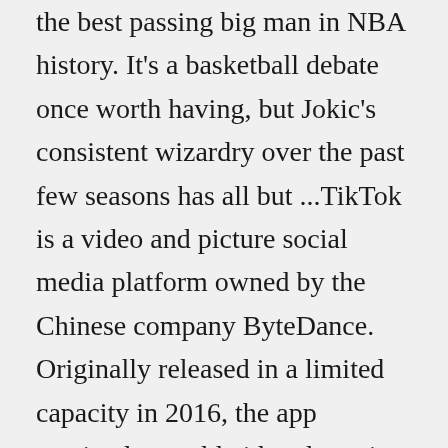the best passing big man in NBA history. It's a basketball debate once worth having, but Jokic's consistent wizardry over the past few seasons has all but ...TikTok is a video and picture social media platform owned by the Chinese company ByteDance. Originally released in a limited capacity in 2016, the app received a worldwide release in 2018 when the...A high school basketball player learned the hard way that even the "worst" NBA players are still the best in the